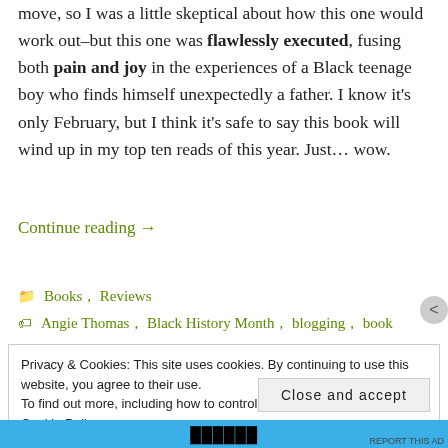move, so I was a little skeptical about how this one would work out–but this one was flawlessly executed, fusing both pain and joy in the experiences of a Black teenage boy who finds himself unexpectedly a father. I know it's only February, but I think it's safe to say this book will wind up in my top ten reads of this year. Just… wow.
Continue reading →
📁 Books, Reviews
🏷 Angie Thomas, Black History Month, blogging, book
Privacy & Cookies: This site uses cookies. By continuing to use this website, you agree to their use.
To find out more, including how to control cookies, see here:
Cookie Policy
Close and accept